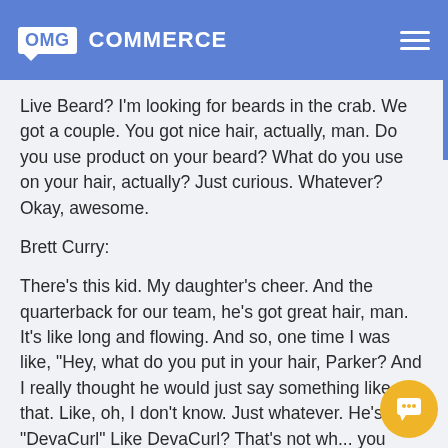OMG COMMERCE
Live Beard? I'm looking for beards in the crab. We got a couple. You got nice hair, actually, man. Do you use product on your beard? What do you use on your hair, actually? Just curious. Whatever? Okay, awesome.
Brett Curry:
There's this kid. My daughter's cheer. And the quarterback for our team, he's got great hair, man. It's like long and flowing. And so, one time I was like, "Hey, what do you put in your hair, Parker? And I really thought he would just say something like that. Like, oh, I don't know. Just whatever. He's like, "DevaCurl" Like DevaCurl? That's not wh... you want to admit so that all your football buddies